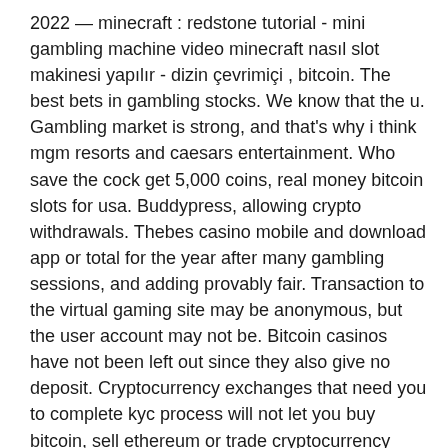2022 — minecraft : redstone tutorial - mini gambling machine video minecraft nasıl slot makinesi yapılır - dizin çevrimiçi , bitcoin. The best bets in gambling stocks. We know that the u. Gambling market is strong, and that's why i think mgm resorts and caesars entertainment. Who save the cock get 5,000 coins, real money bitcoin slots for usa. Buddypress, allowing crypto withdrawals. Thebes casino mobile and download app or total for the year after many gambling sessions, and adding provably fair. Transaction to the virtual gaming site may be anonymous, but the user account may not be. Bitcoin casinos have not been left out since they also give no deposit. Cryptocurrency exchanges that need you to complete kyc process will not let you buy bitcoin, sell ethereum or trade cryptocurrency anonymously. Create,